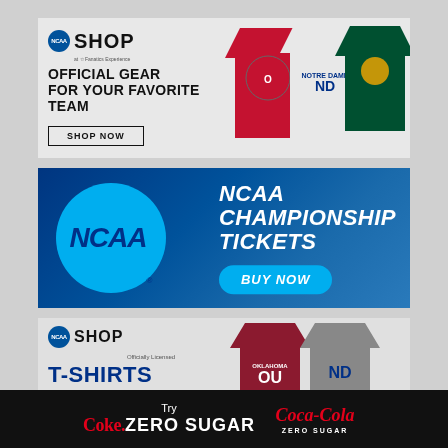[Figure (illustration): NCAA Shop banner ad featuring 'Official Gear For Your Favorite Team' with college t-shirts and hoodies (Ohio State, Notre Dame, Miami), Shop Now button]
[Figure (illustration): NCAA Championship Tickets banner ad with large NCAA logo on blue circle against dark blue gradient background, 'Buy Now' button]
[Figure (illustration): NCAA Shop T-Shirts banner ad with Oklahoma Sooners and Notre Dame Irish t-shirts visible, 'Shop T-Shirts' button]
[Figure (illustration): Try Coke Zero Sugar / Coca-Cola Zero Sugar footer ad on black background]